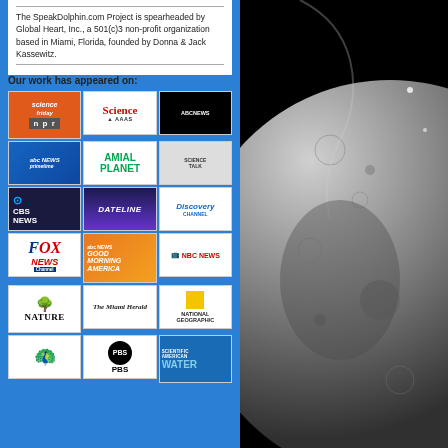The SpeakDolphin.com Project is spearheaded by Global Heart, Inc., a 501(c)3 non-profit organization based in Miami, Florida, founded by Donna & Jack Kassewitz.
Our work has appeared on:
[Figure (infographic): Grid of media outlet logos including Science Friday/NPR, Science AAAS, ABC News globe, abc News Primetime, Animal Planet, Science Talk, CBS News, Dateline, Discovery Channel, Fox News Channel, Good Morning America, NBC News, Nature, The Miami Herald, National Geographic, NBC Peacock, PBS, Scientific American Water]
[Figure (photo): Close-up black and white photograph of what appears to be a celestial body (moon or planet) surface showing craters and terrain, with the body partially visible against a black background]